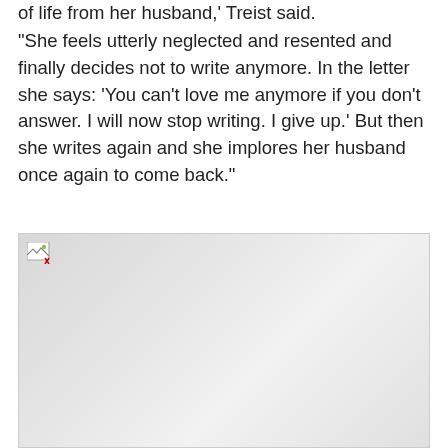of life from her husband,' Treist said.
"She feels utterly neglected and resented and finally decides not to write anymore. In the letter she says: 'You can't love me anymore if you don't answer. I will now stop writing. I give up.' But then she writes again and she implores her husband once again to come back."
[Figure (photo): A broken/missing image placeholder shown as a light gray rectangle with a small broken image icon in the top-left corner.]